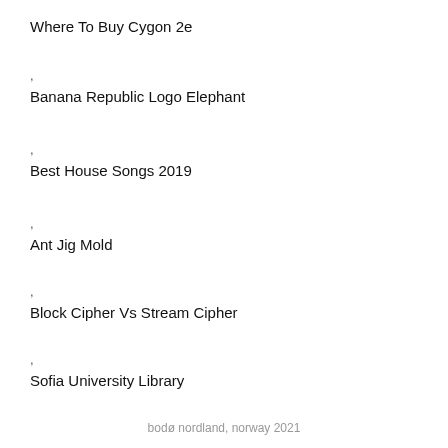Where To Buy Cygon 2e
,
Banana Republic Logo Elephant
,
Best House Songs 2019
,
Ant Jig Mold
,
Block Cipher Vs Stream Cipher
,
Sofia University Library
,
Ls Navy Reddit
,
bodø nordland, norway 2021